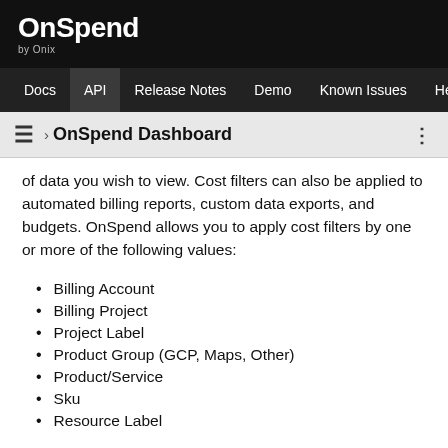OnSpend by Onix
Docs | API | Release Notes | Demo | Known Issues | Help
OnSpend Dashboard
of data you wish to view. Cost filters can also be applied to automated billing reports, custom data exports, and budgets. OnSpend allows you to apply cost filters by one or more of the following values:
Billing Account
Billing Project
Project Label
Product Group (GCP, Maps, Other)
Product/Service
Sku
Resource Label